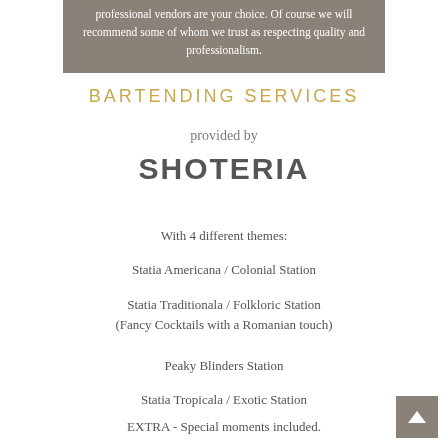professional vendors are your choice. Of course we will recommend some of whom we trust as respecting quality and professionalism.
BARTENDING SERVICES
provided by
SHOTERIA
With 4 different themes:
Statia Americana / Colonial Station
Statia Traditionala / Folkloric Station (Fancy Cocktails with a Romanian touch)
Peaky Blinders Station
Statia Tropicala / Exotic Station
EXTRA - Special moments included.